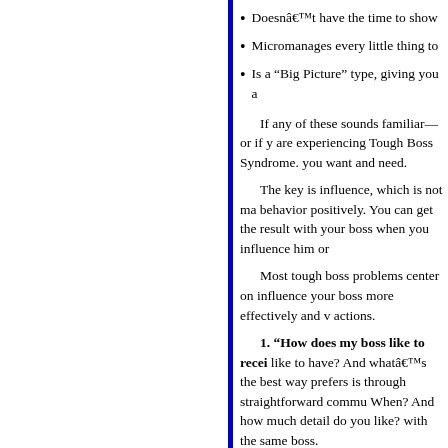Doesn’t have the time to show…
Micromanages every little thing to…
Is a “Big Picture” type, giving you a…
If any of these sounds familiar—or if y… are experiencing Tough Boss Syndrome. you want and need.
The key is influence, which is not ma… behavior positively. You can get the result… with your boss when you influence him or…
Most tough boss problems center on… influence your boss more effectively and v… actions.
1. “How does my boss like to recei…
like to have? And what’s the best way… prefers is through straightforward commu… When? And how much detail do you like? with the same boss.
2. “How much should I involve my…
decision-making while others are more ha… for control. While you can’t change th… find ways to influence them to tell you exa… without infringing on your need for autono…